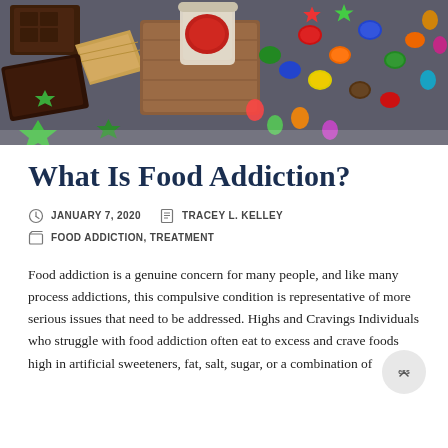[Figure (photo): Overhead photo of chocolate pieces, gummy candies shaped like stars and fish, M&M candies in various colors, and a jar of red jam/sauce on a dark gray slate surface.]
What Is Food Addiction?
JANUARY 7, 2020   TRACEY L. KELLEY
FOOD ADDICTION, TREATMENT
Food addiction is a genuine concern for many people, and like many process addictions, this compulsive condition is representative of more serious issues that need to be addressed. Highs and Cravings Individuals who struggle with food addiction often eat to excess and crave foods high in artificial sweeteners, fat, salt, sugar, or a combination of